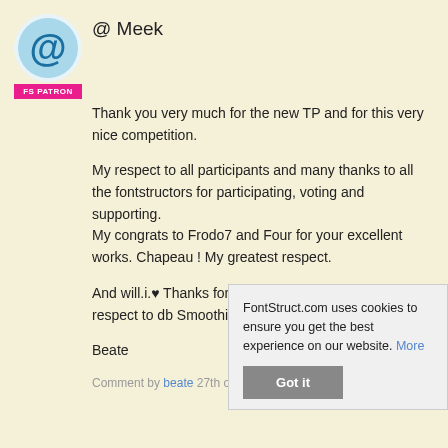[Figure (logo): FontStruct @ symbol avatar logo in blue circle]
FS PATRON
@ Meek
Thank you very much for the new TP and for this very nice competition.

My respect to all participants and many thanks to all the fontstructors for participating, voting and supporting.
My congrats to Frodo7 and Four for your excellent works. Chapeau ! My greatest respect.

And will.i.♥ Thanks for your touching words with respect to db Smoothie

Beate
Comment by beate 27th octo…
FontStruct.com uses cookies to ensure you get the best experience on our website. More
Got it